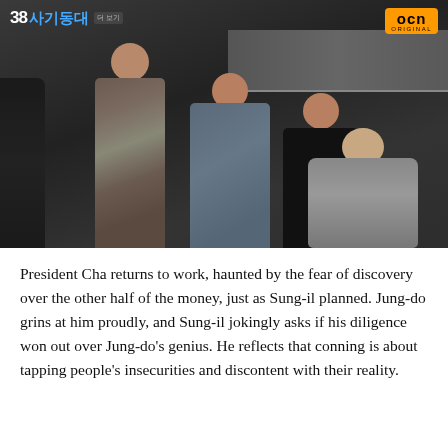[Figure (screenshot): A TV screenshot from Korean drama '38사기동대' (38 Task Force) with OCN ORIGINAL logo. Shows several men in a dimly lit room with one man apparently bound/seated on the floor while others stand over him.]
President Cha returns to work, haunted by the fear of discovery over the other half of the money, just as Sung-il planned. Jung-do grins at him proudly, and Sung-il jokingly asks if his diligence won out over Jung-do's genius. He reflects that conning is about tapping people's insecurities and discontent with their reality.